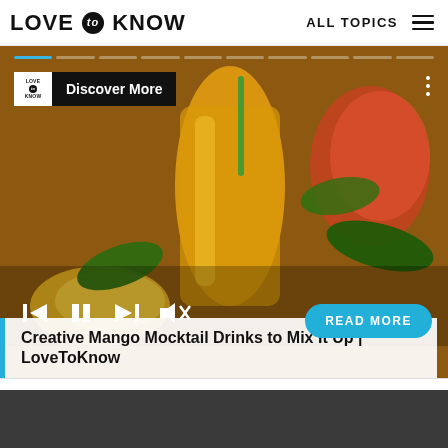LOVE to KNOW   ALL TOPICS
[Figure (screenshot): Mango mocktail drinks video thumbnail showing mason jar with orange mango juice, mango slices, and tropical greenery on wooden background. Includes video controls (skip back, pause, skip forward, mute), a 'READ MORE' cyan button, progress bar segments at top, 'Discover More' label overlay top-left, and three-dot menu top-right.]
Creative Mango Mocktail Drinks to Mix It Up | LoveToKnow